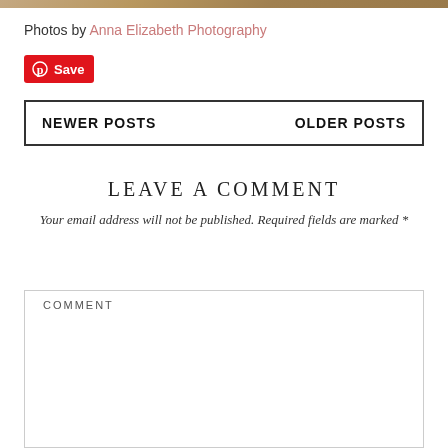[Figure (photo): Partial view of a photo strip at the top of the page showing sandy/wooden texture]
Photos by Anna Elizabeth Photography
[Figure (other): Red Pinterest Save button]
NEWER POSTS | OLDER POSTS
LEAVE A COMMENT
Your email address will not be published. Required fields are marked *
COMMENT